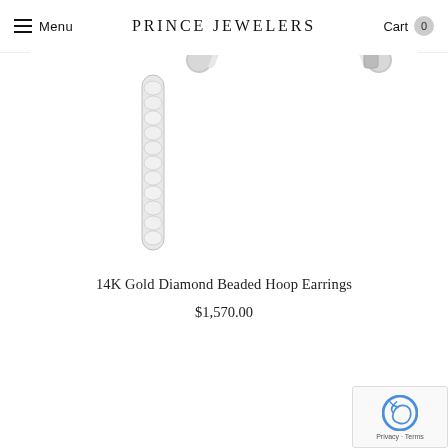Menu | PRINCE JEWELERS | Cart 0
[Figure (photo): Product photo of 14K Gold Diamond Beaded Hoop Earrings — one straight bar hoop and one round hoop, both set with pavé diamonds in white gold, shown on white background.]
14K Gold Diamond Beaded Hoop Earrings
$1,570.00
[Figure (other): reCAPTCHA widget showing the Google reCAPTCHA logo and 'Privacy - Terms' text.]